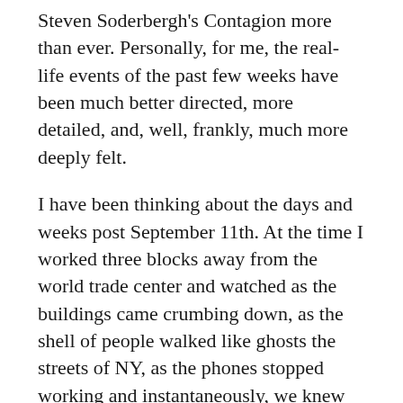Steven Soderbergh's Contagion more than ever. Personally, for me, the real-life events of the past few weeks have been much better directed, more detailed, and, well, frankly, much more deeply felt.

I have been thinking about the days and weeks post September 11th. At the time I worked three blocks away from the world trade center and watched as the buildings came crumbing down, as the shell of people walked like ghosts the streets of NY, as the phones stopped working and instantaneously, we knew that life as we knew it was over. The world was divided into two: before 9/11 and after. For weeks